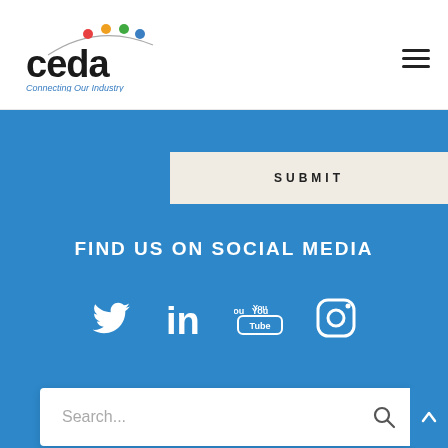[Figure (logo): CEDA logo with colored arc and 'Connecting Our Industry' tagline]
[Figure (illustration): Hamburger menu icon (three horizontal lines)]
[Figure (illustration): SUBMIT button on beige background]
FIND US ON SOCIAL MEDIA
[Figure (illustration): Social media icons: Twitter, LinkedIn, YouTube, Instagram]
[Figure (illustration): Search bar with placeholder text 'Search...' and search icon, with blue scroll-up button]